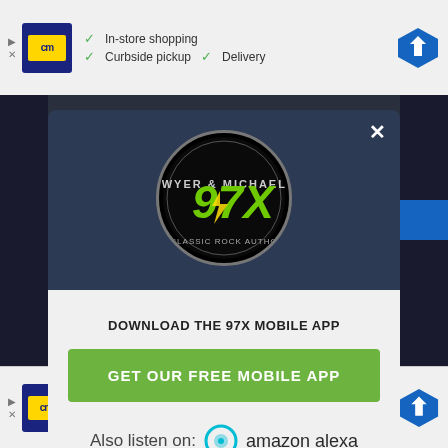[Figure (screenshot): Top advertisement banner with CM logo, checkmarks for In-store shopping, Curbside pickup, Delivery, and a blue direction arrow icon]
[Figure (logo): 97X Dwyer & Michaels radio station logo — circular black badge with green 97X text and lightning bolt, 'The Classic Rock Authority' text around the circle]
DOWNLOAD THE 97X MOBILE APP
GET OUR FREE MOBILE APP
Also listen on:  amazon alexa
[Figure (screenshot): Bottom advertisement banner with CM logo, checkmarks for In-store shopping, Curbside pickup, Delivery, and a blue direction arrow icon]